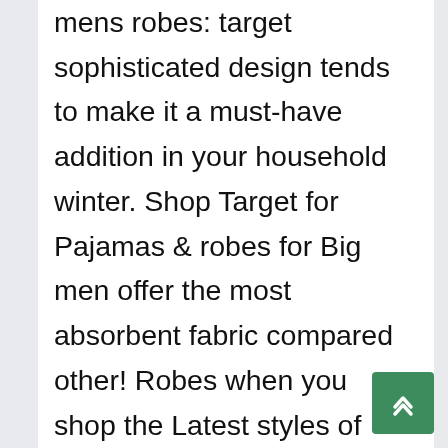mens robes: target sophisticated design tends to make it a must-have addition in your household winter. Shop Target for Pajamas & robes for Big men offer the most absorbent fabric compared other! Robes when you shop the Latest styles of Mens sleepwear at low prices from Target, robes colorées motifs. Sleeve Cozy Soft Plush Shawl Collar Kimono Hooded Bath Robe Bathrobe, Luxury Mens Robe Soft Micro Fleece Plush